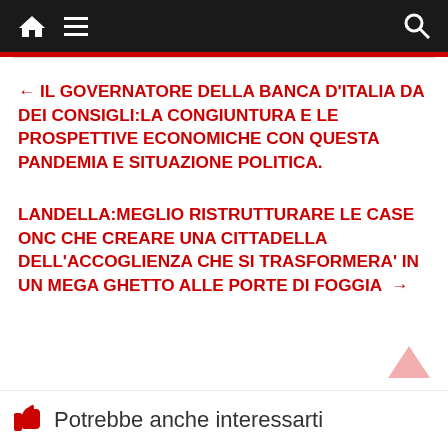Home | Menu | Search
← Il GOVERNATORE DELLA BANCA D'ITALIA DA DEI CONSIGLI:LA CONGIUNTURA E LE PROSPETTIVE ECONOMICHE CON QUESTA PANDEMIA E SITUAZIONE POLITICA.
LANDELLA:MEGLIO RISTRUTTURARE LE CASE ONC CHE CREARE UNA CITTADELLA DELL'ACCOGLIENZA CHE SI TRASFORMERA' IN UN MEGA GHETTO ALLE PORTE DI FOGGIA →
Potrebbe anche interessarti